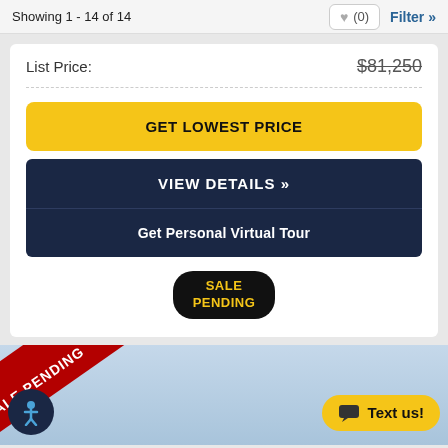Showing 1 - 14 of 14
List Price: $81,250
GET LOWEST PRICE
VIEW DETAILS »
Get Personal Virtual Tour
SALE PENDING
[Figure (screenshot): Bottom of page showing a sale pending diagonal red ribbon banner over a light blue background, an accessibility icon (blue circle with person figure), and a yellow 'Text us!' button]
Text us!